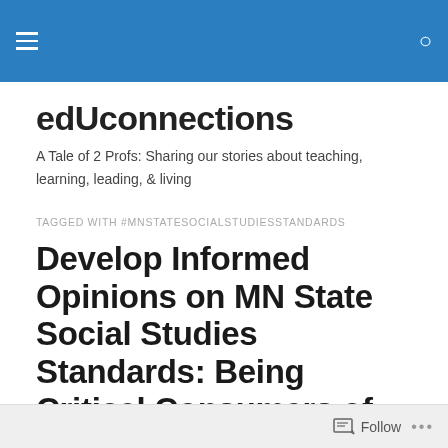edUconnections — navigation header bar
edUconnections
A Tale of 2 Profs: Sharing our stories about teaching, learning, leading, & living
TAGGED WITH #MNSTATESOCIALSTUDIESSTANDARDS
Develop Informed Opinions on MN State Social Studies Standards: Being Critical Consumers of Media
Follow